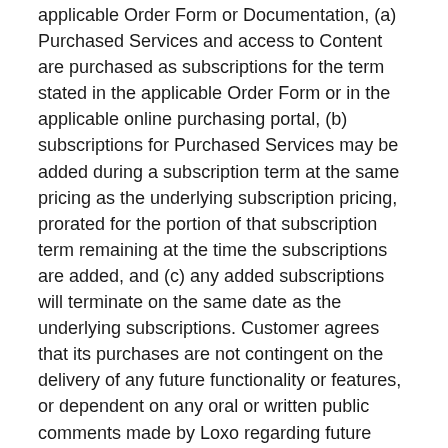applicable Order Form or Documentation, (a) Purchased Services and access to Content are purchased as subscriptions for the term stated in the applicable Order Form or in the applicable online purchasing portal, (b) subscriptions for Purchased Services may be added during a subscription term at the same pricing as the underlying subscription pricing, prorated for the portion of that subscription term remaining at the time the subscriptions are added, and (c) any added subscriptions will terminate on the same date as the underlying subscriptions. Customer agrees that its purchases are not contingent on the delivery of any future functionality or features, or dependent on any oral or written public comments made by Loxo regarding future functionality or features.
3.2. General Restrictions. Customer will not (a) make any Service or Content available to anyone other than Customer or Users, or use any Service or Content for the benefit of anyone other than Customer or its Affiliates, unless expressly stated otherwise in an Order Form or the Documentation, (b) sell, resell, license, sublicense, distribute, make available, rent or lease any Service or Content, or include any Service or Content in a service bureau or outsourcing offering,